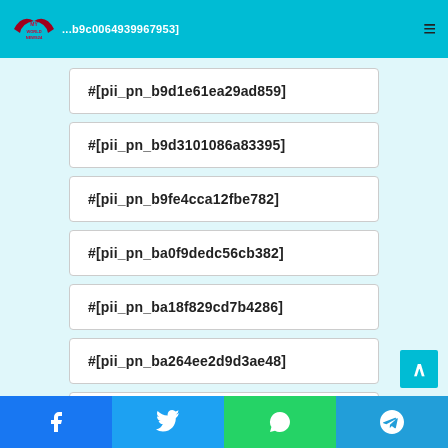MY WORLDNEWS24 — ...b9c0064939967953]
#[pii_pn_b9d1e61ea29ad859]
#[pii_pn_b9d3101086a83395]
#[pii_pn_b9fe4cca12fbe782]
#[pii_pn_ba0f9dedc56cb382]
#[pii_pn_ba18f829cd7b4286]
#[pii_pn_ba264ee2d9d3ae48]
#[pii_pn_ba3d31aaae6dae83]
#[pii_pn_ba71080ce99333b5]
Facebook | Twitter | WhatsApp | Telegram